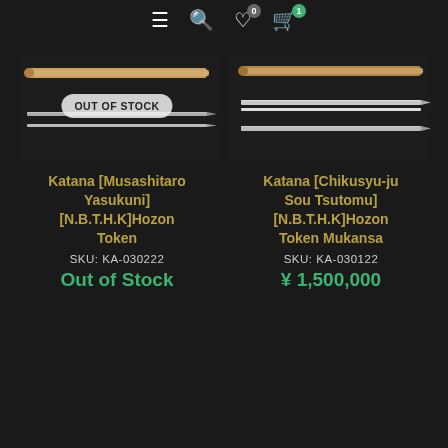Navigation bar with menu, search, wishlist (0), and cart (1) icons
[Figure (photo): Product image of Katana swords - out of stock, with 'OUT OF STOCK' badge overlay]
Katana [Musashitaro Yasukuni] [N.B.T.H.K]Hozon Token
SKU: KA-030222
Out of Stock
[Figure (photo): Product image of Katana swords - available]
Katana [Chikusyu-ju Sou Tsutomu] [N.B.T.H.K]Hozon Token Mukansa
SKU: KA-030122
¥ 1,500,000